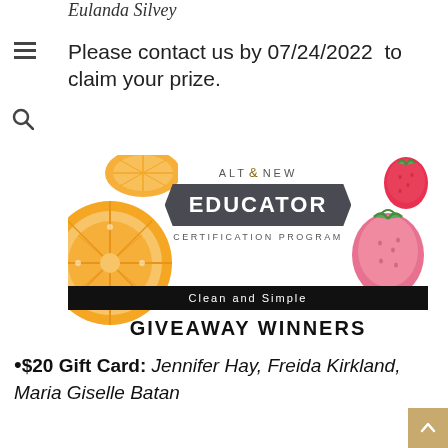Eulanda Silvey
Please contact us by 07/24/2022  to claim your prize.
[Figure (illustration): Altenew Educator Certification Program badge with orange slices on the left, strawberries on the right, a dark ribbon banner, and black bar reading 'Clean and Simple' with 'GIVEAWAY WINNERS' below.]
•$20 Gift Card: Jennifer Hay, Freida Kirkland, Maria Giselle Batan